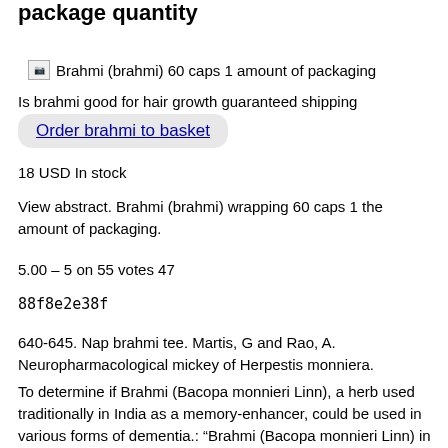package quantity
[Figure (photo): Broken image placeholder icon followed by text: Brahmi (brahmi) 60 caps 1 amount of packaging]
Is brahmi good for hair growth guaranteed shipping
Order brahmi to basket
18 USD In stock
View abstract. Brahmi (brahmi) wrapping 60 caps 1 the amount of packaging.
5.00 – 5 on 55 votes 47
88f8e2e38f
640-645. Nap brahmi tee. Martis, G and Rao, A. Neuropharmacological mickey of Herpestis monniera.
To determine if Brahmi (Bacopa monnieri Linn), a herb used traditionally in India as a memory-enhancer, could be used in various forms of dementia.: “Brahmi (Bacopa monnieri Linn) in the treatment of dementias ...”